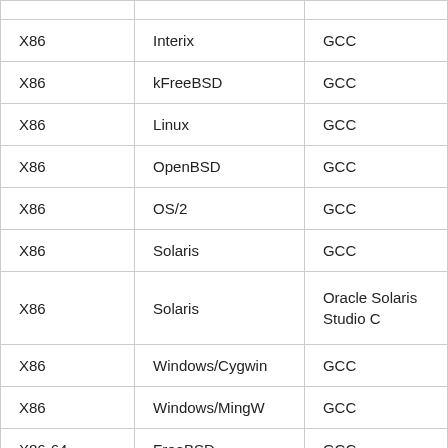| X86 | Interix | GCC |
| X86 | kFreeBSD | GCC |
| X86 | Linux | GCC |
| X86 | OpenBSD | GCC |
| X86 | OS/2 | GCC |
| X86 | Solaris | GCC |
| X86 | Solaris | Oracle Solaris Studio C |
| X86 | Windows/Cygwin | GCC |
| X86 | Windows/MingW | GCC |
| X86-64 | FreeBSD | GCC |
| X86-64 | Linux | GCC |
| X86-64 | Linux/x32 | GCC |
| X86-64 | OpenBSD | GCC |
| X86-64 | Solaris | Oracle Solaris |